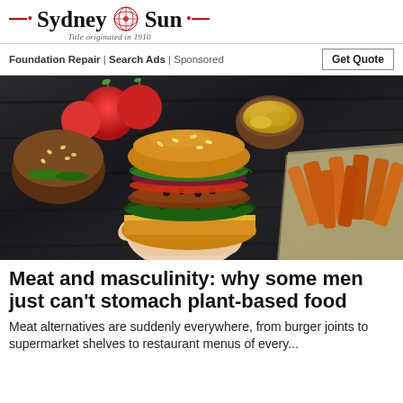Sydney Sun — Title originated in 1910
Foundation Repair | Search Ads | Sponsored   Get Quote
[Figure (photo): A hand holding a large plant-based burger with green kale, red tomato and colorful toppings on a wholegrain bun. Sweet potato fries on parchment paper to the right. Tomatoes and a bowl of mustard in the background. Dark wooden table surface.]
Meat and masculinity: why some men just can't stomach plant-based food
Meat alternatives are suddenly everywhere, from burger joints to supermarket shelves to restaurant menus of every...